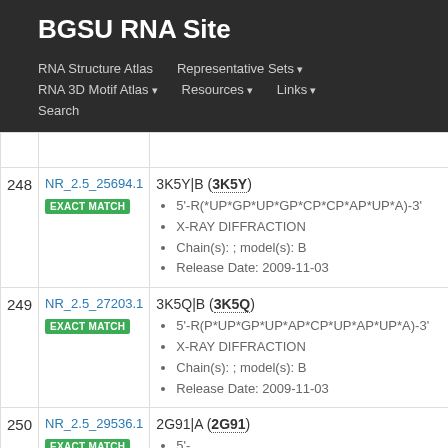BGSU RNA Site
RNA Structure Atlas | Representative Sets ▾ | RNA 3D Motif Atlas ▾ | Resources ▾ | Links ▾ | Search
| # | ID | Details |
| --- | --- | --- |
| 248 | NR_2.5_25694.1
EXACT MATCH | 3K5Y|B (3K5Y)
5'-R(*UP*GP*UP*GP*CP*CP*AP*UP*A)-3'
X-RAY DIFFRACTION
Chain(s): ; model(s): B
Release Date: 2009-11-03 |
| 249 | NR_2.5_27203.1
EXACT MATCH | 3K5Q|B (3K5Q)
5'-R(P*UP*GP*UP*AP*CP*UP*AP*UP*A)-3'
X-RAY DIFFRACTION
Chain(s): ; model(s): B
Release Date: 2009-11-03 |
| 250 | NR_2.5_29536.1
EXACT MATCH | 2G91|A (2G91)
5'-R(*CP*GP*UP*AP*RP*CP*GP*CP*GP*RPS...)  |